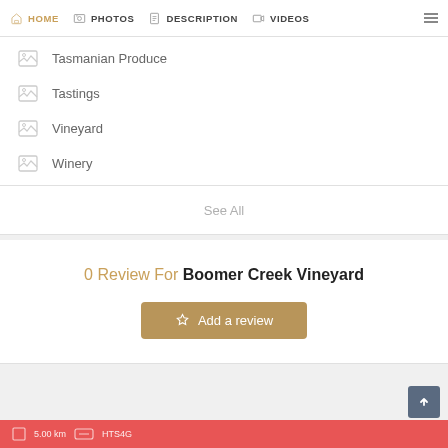HOME  PHOTOS  DESCRIPTION  VIDEOS
Tasmanian Produce
Tastings
Vineyard
Winery
See All
0 Review For Boomer Creek Vineyard
Add a review